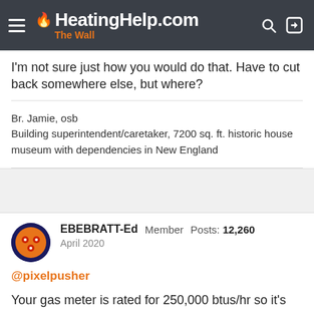HeatingHelp.com The Wall
I'm not sure just how you would do that. Have to cut back somewhere else, but where?
Br. Jamie, osb
Building superintendent/caretaker, 7200 sq. ft. historic house museum with dependencies in New England
EBEBRATT-Ed  Member  Posts: 12,260
April 2020
@pixelpusher
Your gas meter is rated for 250,000 btus/hr so it's